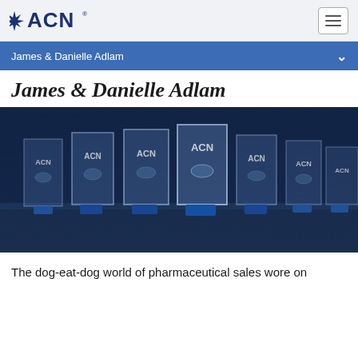[Figure (logo): ACN logo in dark navy blue with starburst icon]
James & Danielle Adlam
James & Danielle Adlam
[Figure (photo): Row of glass ACN awards/trophies with blue bases, displayed on a table, dark blue tint overlay]
The dog-eat-dog world of pharmaceutical sales wore on